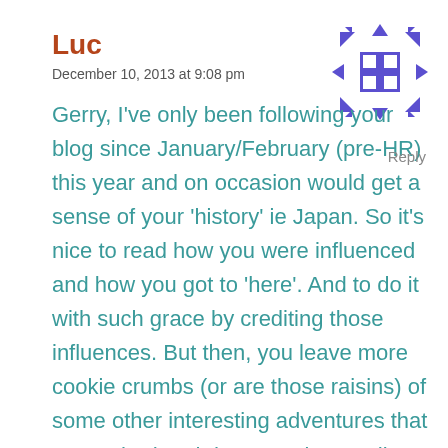Luc
December 10, 2013 at 9:08 pm
[Figure (illustration): Purple geometric/quilt-pattern avatar icon]
Reply
Gerry, I’ve only been following your blog since January/February (pre-HR) this year and on occasion would get a sense of your ‘history’ ie Japan. So it’s nice to read how you were influenced and how you got to ‘here’. And to do it with such grace by crediting those influences. But then, you leave more cookie crumbs (or are those raisins) of some other interesting adventures that you’ve had and done. I enjoy reading your blog. Keep it going.